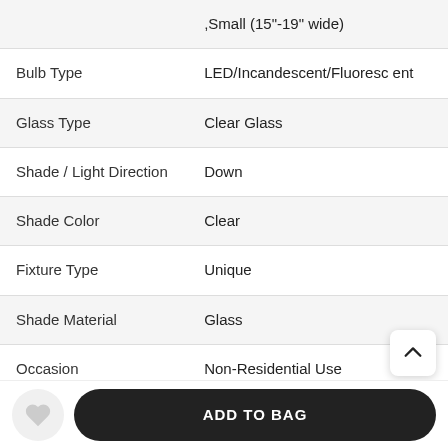| Attribute | Value |
| --- | --- |
|  | ,Small (15"-19" wide) |
| Bulb Type | LED/Incandescent/Fluorescent |
| Glass Type | Clear Glass |
| Shade / Light Direction | Down |
| Shade Color | Clear |
| Fixture Type | Unique |
| Shade Material | Glass |
| Occasion | Non-Residential Use |